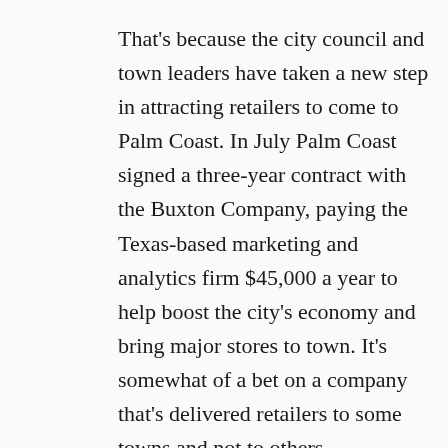That's because the city council and town leaders have taken a new step in attracting retailers to come to Palm Coast. In July Palm Coast signed a three-year contract with the Buxton Company, paying the Texas-based marketing and analytics firm $45,000 a year to help boost the city's economy and bring major stores to town. It's somewhat of a bet on a company that's delivered retailers to some towns and not to others.
It has its skeptics. The approach is not geared toward high-wage employers. The retailers on Buxton's list tend to pay at the lower end of the scale, and Florida is not among the states pushing for $15-an-hour living minimum